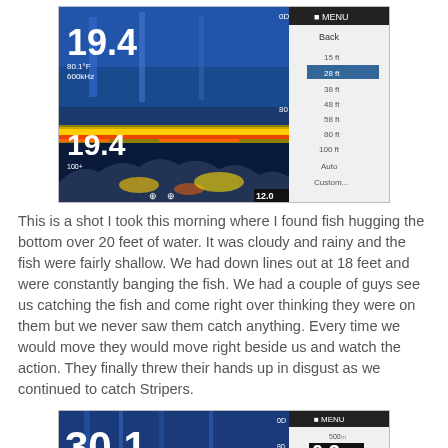[Figure (screenshot): Fish finder sonar screen showing depth reading of 19.4 feet with fish hugging the bottom, with a menu panel on the right side showing depth range options including 28ft selected.]
This is a shot I took this morning where I found fish hugging the bottom over 20 feet of water. It was cloudy and rainy and the fish were fairly shallow. We had down lines out at 18 feet and were constantly banging the fish. We had a couple of guys see us catching the fish and come right over thinking they were on them but we never saw them catch anything. Every time we would move they would move right beside us and watch the action. They finally threw their hands up in disgust as we continued to catch Stripers.
[Figure (screenshot): Fish finder sonar screen showing depth reading of 30.1 feet with 0.3 water temperature reading and fish marks visible, with menu panel on the right.]